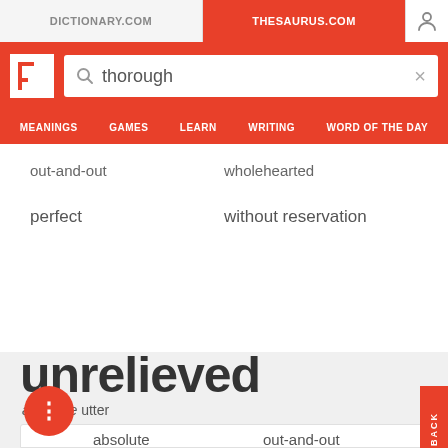DICTIONARY.COM | THESAURUS.COM
[Figure (screenshot): Thesaurus.com search bar with search term 'thorough']
MEANINGS  GAMES  LEARN  WRITING  WORD OF THE DAY
out-and-out    wholehearted
perfect    without reservation
unrelieved
adjective utter
absolute    out-and-out
all-fired    outright